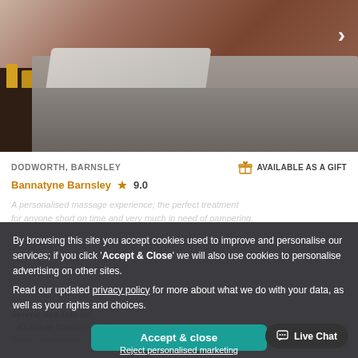[Figure (photo): Spa treatment room with massage bed covered in grey textured sheets and pillow, dark wooden nightstand with candles, brown/maroon wall background]
DODWORTH, BARNSLEY
AVAILABLE AS A GIFT
Bannatyne Barnsley  9.0
By browsing this site you accept cookies used to improve and personalise our services; if you click 'Accept & Close' we will also use cookies to personalise advertising on other sites.
Read our updated privacy policy for more about what we do with your data, as well as your rights and choices.
Accept & close
Reject personalised marketing
Serene Spa Day for...
- 40 minute Bann...Treatment Room...happiness...
Live Chat